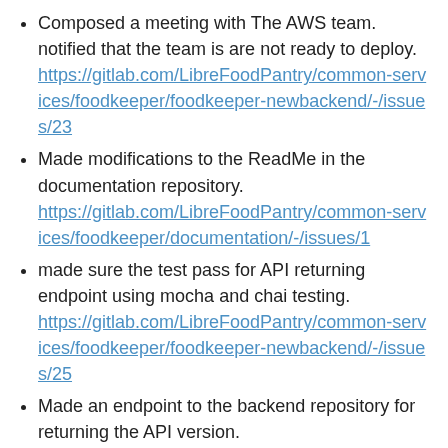Composed a meeting with The AWS team. notified that the team is are not ready to deploy. https://gitlab.com/LibreFoodPantry/common-services/foodkeeper/foodkeeper-newbackend/-/issues/23
Made modifications to the ReadMe in the documentation repository. https://gitlab.com/LibreFoodPantry/common-services/foodkeeper/documentation/-/issues/1
made sure the test pass for API returning endpoint using mocha and chai testing. https://gitlab.com/LibreFoodPantry/common-services/foodkeeper/foodkeeper-newbackend/-/issues/25
Made an endpoint to the backend repository for returning the API version. https://gitlab.com/LibreFoodPantry/common-services/foodkeeper/foodkeeper-newbackend/-/issues/13